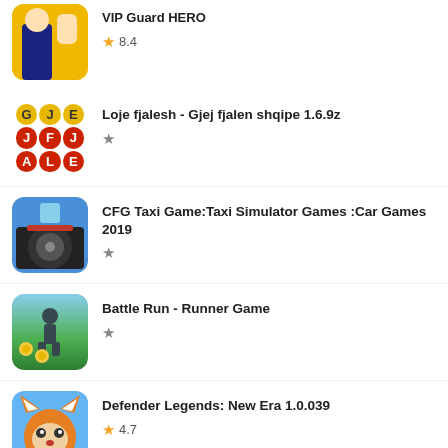[Figure (screenshot): App listing: VIP Guard Hero - anime style game icon, partial view at top]
8.4
[Figure (screenshot): App listing: Loje fjalesh - word game with letter circles G J E / J F J / A L E]
Loje fjalesh - Gjej fjalen shqipe 1.6.9z
[Figure (screenshot): App listing: CFG Taxi Game - taxi interior driving screenshot]
CFG Taxi Game:Taxi Simulator Games :Car Games 2019
[Figure (screenshot): App listing: Battle Run - Runner Game - runner game with coins screenshot]
Battle Run - Runner Game
[Figure (screenshot): App listing: Defender Legends: New Era 1.0.039 - cartoon fox icon]
Defender Legends: New Era 1.0.039
4.7